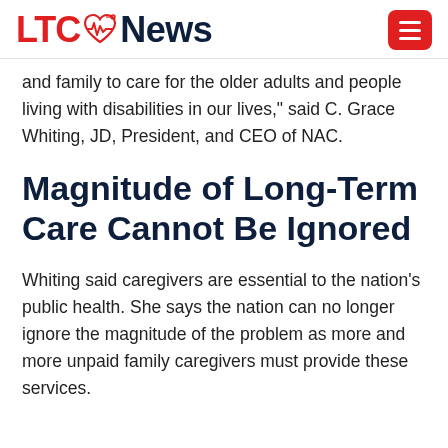LTC News
and family to care for the older adults and people living with disabilities in our lives," said C. Grace Whiting, JD, President, and CEO of NAC.
Magnitude of Long-Term Care Cannot Be Ignored
Whiting said caregivers are essential to the nation's public health. She says the nation can no longer ignore the magnitude of the problem as more and more unpaid family caregivers must provide these services.